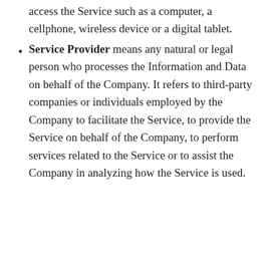access the Service such as a computer, a cellphone, wireless device or a digital tablet.
Service Provider means any natural or legal person who processes the Information and Data on behalf of the Company. It refers to third-party companies or individuals employed by the Company to facilitate the Service, to provide the Service on behalf of the Company, to perform services related to the Service or to assist the Company in analyzing how the Service is used.